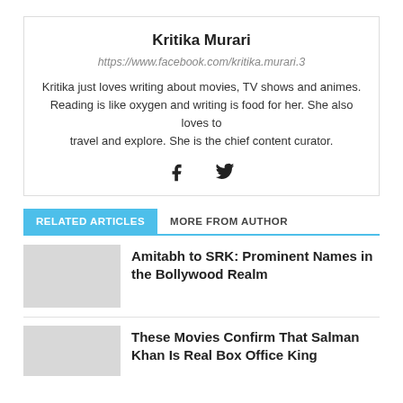Kritika Murari
https://www.facebook.com/kritika.murari.3
Kritika just loves writing about movies, TV shows and animes. Reading is like oxygen and writing is food for her. She also loves to travel and explore. She is the chief content curator.
[Figure (illustration): Social media icons: Facebook (f) and Twitter (bird)]
RELATED ARTICLES
MORE FROM AUTHOR
Amitabh to SRK: Prominent Names in the Bollywood Realm
These Movies Confirm That Salman Khan Is Real Box Office King